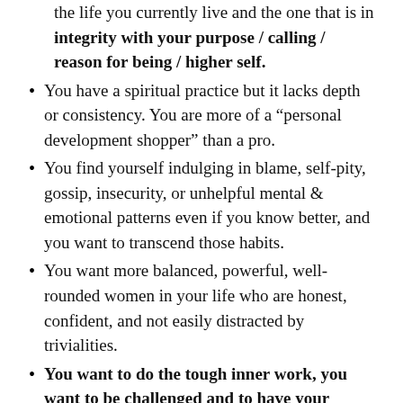the life you currently live and the one that is in integrity with your purpose / calling / reason for being / higher self.
You have a spiritual practice but it lacks depth or consistency. You are more of a “personal development shopper” than a pro.
You find yourself indulging in blame, self-pity, gossip, insecurity, or unhelpful mental & emotional patterns even if you know better, and you want to transcend those habits.
You want more balanced, powerful, well-rounded women in your life who are honest, confident, and not easily distracted by trivialities.
You want to do the tough inner work, you want to be challenged and to have your layers of conditioning exposed, but you haven’t yet